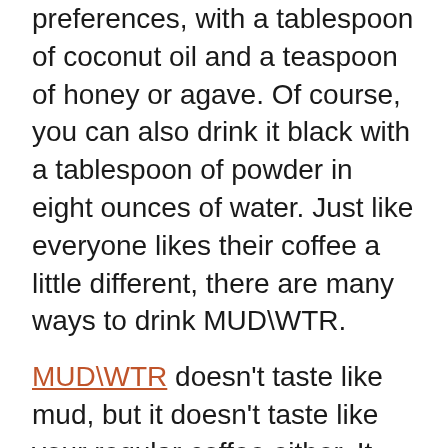preferences, with a tablespoon of coconut oil and a teaspoon of honey or agave. Of course, you can also drink it black with a tablespoon of powder in eight ounces of water. Just like everyone likes their coffee a little different, there are many ways to drink MUD\WTR.
MUD\WTR doesn't taste like mud, but it doesn't taste like your regular coffee either. It only has about 14mg of caffeine per cup vs 95mg in the average cup of coffee. On it's own, MUD\WTR is filled with spices and there are many unique layers of flavors. You can't really taste any mushrooms but it is definitely earthy when you drink it black. It isn't as bitter as you'd expect the mix of flavors to taste. If you don't use a mesh strainer, you may end up with some powder remnants at the bottom of your cup. If you add all the extras like milk, sweetener, etc. you can make MUD\WTR